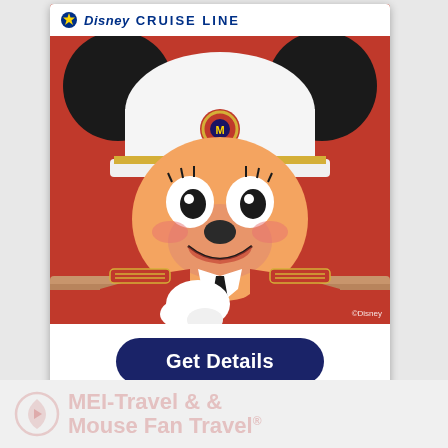[Figure (illustration): Disney Cruise Line advertisement featuring Minnie Mouse dressed in a red captain's uniform with gold epaulettes and white gloves, wearing a white captain's hat with a Disney logo badge, set against a red background. The Disney Cruise Line logo appears at the top.]
Get Details
[Figure (logo): MEI-Travel & Mouse Fan Travel watermark logo at the bottom of the page, shown in faded red/pink color]